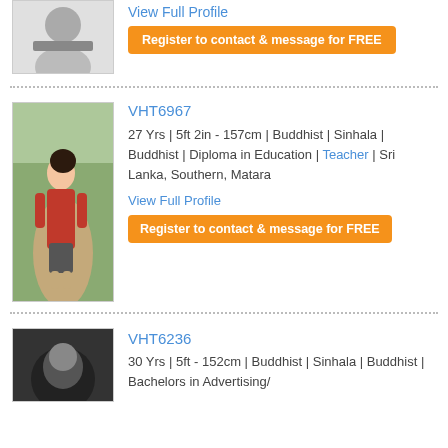[Figure (photo): Partially visible profile photo of a person with a gray silhouette/avatar]
View Full Profile
Register to contact & message for FREE
VHT6967
27 Yrs | 5ft 2in - 157cm | Buddhist | Sinhala | Buddhist | Diploma in Education | Teacher | Sri Lanka, Southern, Matara
View Full Profile
Register to contact & message for FREE
VHT6236
30 Yrs | 5ft - 152cm | Buddhist | Sinhala | Buddhist | Bachelors in Advertising/